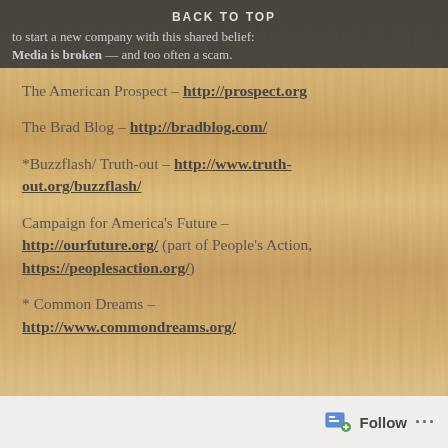BACK TO TOP
to start a new company with this shared belief: Media is broken — and too often a scam.
The American Prospect – http://prospect.org
The Brad Blog – http://bradblog.com/
*Buzzflash/ Truth-out – http://www.truth-out.org/buzzflash/
Campaign for America's Future – http://ourfuture.org/ (part of People's Action, https://peoplesaction.org/)
* Common Dreams – http://www.commondreams.org/